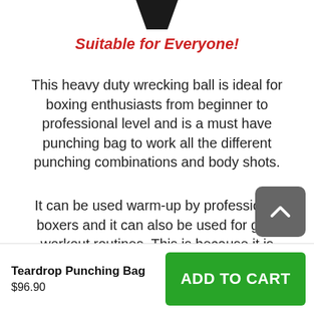[Figure (illustration): Partial black silhouette/shape visible at top of page, appears to be bottom portion of a product image (teardrop punching bag)]
Suitable for Everyone!
This heavy duty wrecking ball is ideal for boxing enthusiasts from beginner to professional level and is a must have punching bag to work all the different punching combinations and body shots.
It can be used warm-up by professional boxers and it can also be used for gym workout routines. This is because it is perfectly shaped to give you the best performance.
Teardrop Punching Bag
$96.90
ADD TO CART